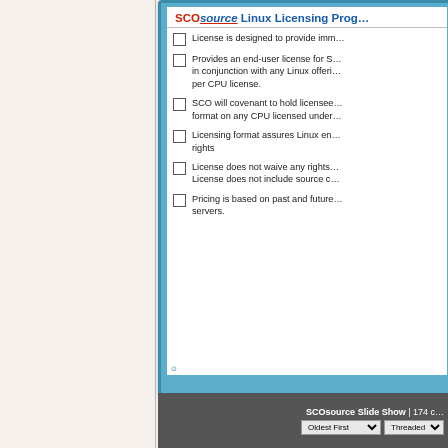SCOsource Linux Licensing Prog...
License is designed to provide imm...
Provides an end-user license for S... in conjunction with any Linux offeri... per CPU license.
SCO will covenant to hold licensee... format on any CPU licensed under...
Licensing format assures Linux en... rights
License does not waive any rights... License does not include source c...
Pricing is based on past and future... servers.
SCOsource Slide Show | 174 c... Oldest First  Threaded...